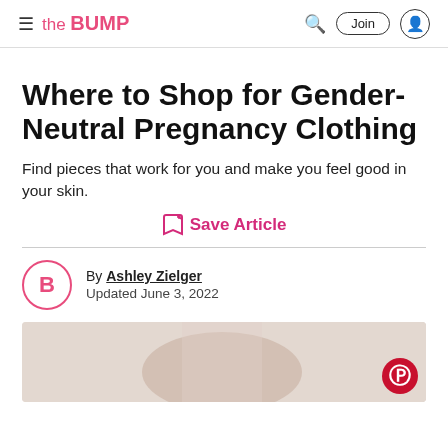the BUMP — Search | Join | User
Where to Shop for Gender-Neutral Pregnancy Clothing
Find pieces that work for you and make you feel good in your skin.
Save Article
By Ashley Zielger
Updated June 3, 2022
[Figure (photo): Article hero image showing a pregnant person, with a Pinterest badge overlay in the bottom right corner.]